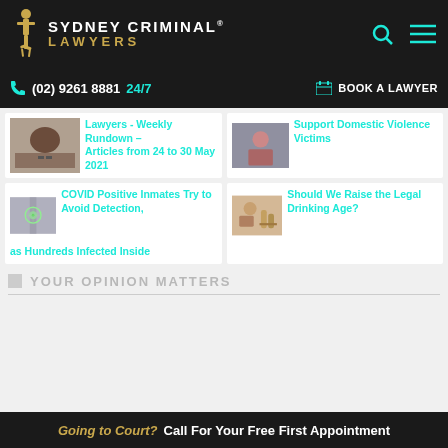[Figure (logo): Sydney Criminal Lawyers logo with golden figure statue and text]
(02) 9261 8881 24/7   BOOK A LAWYER
Lawyers - Weekly Rundown – Articles from 24 to 30 May 2021
Support Domestic Violence Victims
COVID Positive Inmates Try to Avoid Detection, as Hundreds Infected Inside
Should We Raise the Legal Drinking Age?
YOUR OPINION MATTERS
Going to Court? Call For Your Free First Appointment